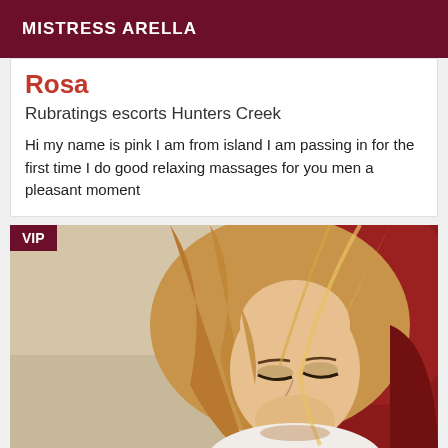MISTRESS ARELLA
Rosa
Rubratings escorts Hunters Creek
Hi my name is pink I am from island I am passing in for the first time I do good relaxing massages for you men a pleasant moment
[Figure (photo): Photo of a blonde woman with long hair, wearing a white top, looking downward, seated against a red background. VIP badge in top-left corner.]